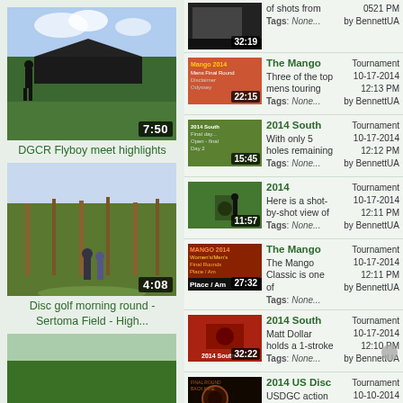[Figure (screenshot): Video thumbnail for DGCR Flyboy meet highlights, duration 7:50, showing disc golf course with person and shelter]
DGCR Flyboy meet highlights
[Figure (screenshot): Video thumbnail for Disc golf morning round - Sertoma Field - High..., duration 4:08, showing wooded disc golf course with players]
Disc golf morning round - Sertoma Field - High...
[Figure (screenshot): Video thumbnail duration 10:34, showing disc golf course green scene with player]
duration: 32:19 | Tags: None... | 05:21 PM by BennettUA
The Mango | Three of the top mens touring | Tags: None... | Tournament 10-17-2014 12:13 PM by BennettUA | duration 22:15
2014 South | With only 5 holes remaining | Tags: None... | Tournament 10-17-2014 12:12 PM by BennettUA | duration 15:45
2014 | Here is a shot-by-shot view of | Tags: None... | Tournament 10-17-2014 12:11 PM by BennettUA | duration 11:57
The Mango | The Mango Classic is one of | Tags: None... | Tournament 10-17-2014 12:11 PM by BennettUA | duration 27:32
2014 South | Matt Dollar holds a 1-stroke | Tags: None... | Tournament 10-17-2014 12:10 PM by BennettUA | duration 32:22
2014 US Disc | USDGC action continues! The | Tags: None... | Tournament 10-10-2014 03:58 PM by BennettUA | duration 36:28